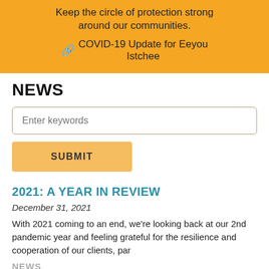Keep the circle of protection strong around our communities.
🔗 COVID-19 Update for Eeyou Istchee
NEWS
Enter keywords
SUBMIT
2021: A YEAR IN REVIEW
December 31, 2021
With 2021 coming to an end, we're looking back at our 2nd pandemic year and feeling grateful for the resilience and cooperation of our clients, par
NEWS